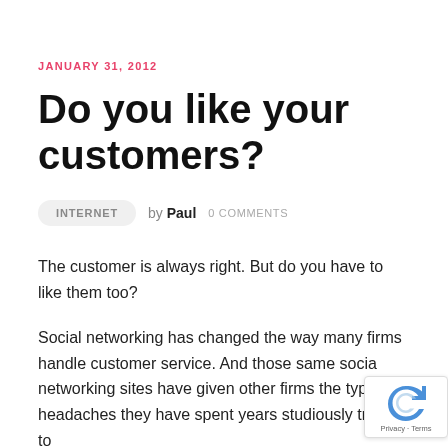JANUARY 31, 2012
Do you like your customers?
INTERNET   by Paul   0 COMMENTS
The customer is always right. But do you have to like them too?
Social networking has changed the way many firms handle customer service. And those same social networking sites have given other firms the typ headaches they have spent years studiously trying to